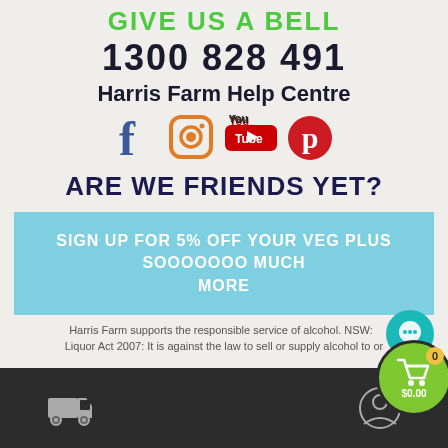GIVE US A BELL
1300 828 491
Harris Farm Help Centre
[Figure (illustration): Social media icons: Facebook (blue), Instagram (orange camera), YouTube (red/white logo), Pinterest (red circle with P)]
ARE WE FRIENDS YET?
SIGN UP FOR 5% OFF YOUR VEG PLUS SOOOOOOO MUCH MORE
Harris Farm supports the responsible service of alcohol. NSW: Liquor Act 2007: It is against the law to sell or supply alcohol to or
[Figure (illustration): Bottom navigation bar with delivery truck icon, shopping cart with 0 items and $0.00 price on green circle, and user profile icon]
[Figure (illustration): Teal chat bubble icon in bottom right corner]